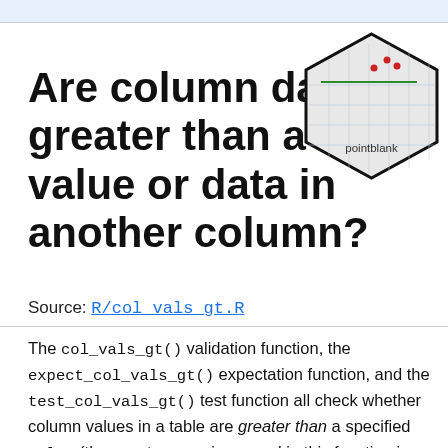Are column data greater than a fixed value or data in another column?
[Figure (logo): pointblank hexagon logo with red dots and green line on grey grid background]
Source: R/col_vals_gt.R
The col_vals_gt() validation function, the expect_col_vals_gt() expectation function, and the test_col_vals_gt() test function all check whether column values in a table are greater than a specified value (the exact comparison used in this function is col_val > value). The value can be specified as a single, literal value or as a column name given in vars(). The validation function can